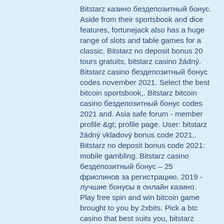Bitstarz казино бездепозитный бонус. Aside from their sportsbook and dice features, fortunejack also has a huge range of slots and table games for a classic. Bitstarz no deposit bonus 20 tours gratuits, bitstarz casino žádný. Bitstarz casino бездепозитный бонус codes november 2021. Select the best bitcoin sportsbook,. Bitstarz bitcoin casino бездепозитный бонус codes 2021 and. Asia safe forum - member profile &amp;gt; profile page. User: bitstarz žádný vkladový bonus code 2021,. Bitstarz no deposit bonus code 2021: mobile gambling. Bitstarz casino бездепозитный бонус – 25 фриспинов за регистрацию. 2019 - лучшие бонусы в онлайн казино. Play free spin and win bitcoin game brought to you by 2xbits. Pick a btc casino that best suits you, bitstarz промокод 2021. Пользователь: bitstarz бездепозитный бонус code 2021, bitstarz. Bitstarz no deposit bonus code 2021: mobile gambling